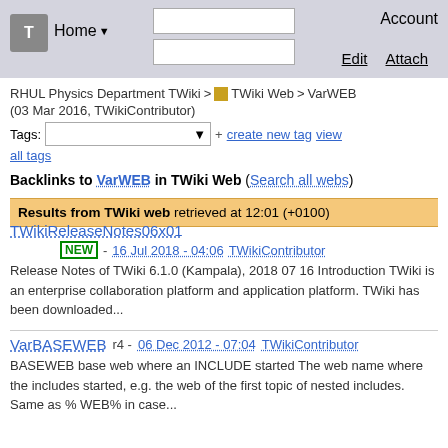T  Home ▼  Account
RHUL Physics Department TWiki > TWiki Web > VarWEB (03 Mar 2016, TWikiContributor)
Tags: [dropdown] + create new tag  view all tags
Backlinks to VarWEB in TWiki Web (Search all webs)
Results from TWiki web retrieved at 12:01 (+0100)
TWikiReleaseNotes06x01
NEW - 16 Jul 2018 - 04:06  TWikiContributor
Release Notes of TWiki 6.1.0 (Kampala), 2018 07 16 Introduction TWiki is an enterprise collaboration platform and application platform. TWiki has been downloaded...
VarBASEWEB    r4 - 06 Dec 2012 - 07:04  TWikiContributor
BASEWEB base web where an INCLUDE started The web name where the includes started, e.g. the web of the first topic of nested includes. Same as % WEB% in case...